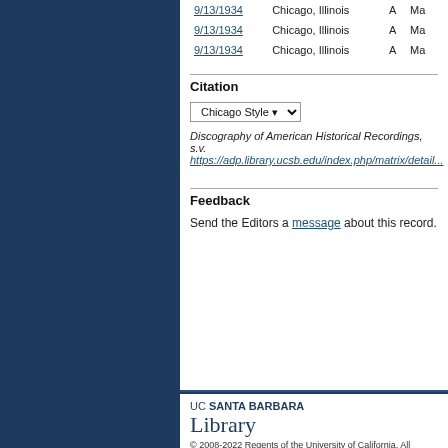| Date | Location | Type | Ma... |
| --- | --- | --- | --- |
| 9/13/1934 | Chicago, Illinois | A | Ma... |
| 9/13/1934 | Chicago, Illinois | A | Ma... |
| 9/13/1934 | Chicago, Illinois | A | Ma... |
Citation
Chicago Style (dropdown)
Discography of American Historical Recordings, s.v. https://adp.library.ucsb.edu/index.php/matrix/detail...
Feedback
Send the Editors a message about this record.
[Figure (logo): UC Santa Barbara Library logo with text 'UC SANTA BARBARA Library']
© 2008-2022 Regents of the University of California, All Rights Reserved. Home | Contact Us | Terms of Use | Accessibility